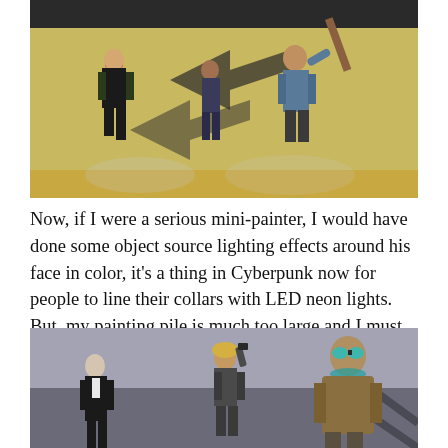[Figure (photo): Painted miniature figures of cyberpunk characters running on a game board with black and gold geometric patterns. One figure has pink hair, another carries a large weapon. The board has arrow/chevron designs.]
Now, if I were a serious mini-painter, I would have done some object source lighting effects around his face in color, it's a thing in Cyberpunk now for people to line their collars with LED neon lights. But, my painting pile is much too large and I must move on to other miniatures.
[Figure (photo): Painted miniature figures of cyberpunk characters on a grey surface. One bald figure in a suit, a female figure with blonde hair taking a photo, and a large figure in a trench coat with goggles and teal collar details.]